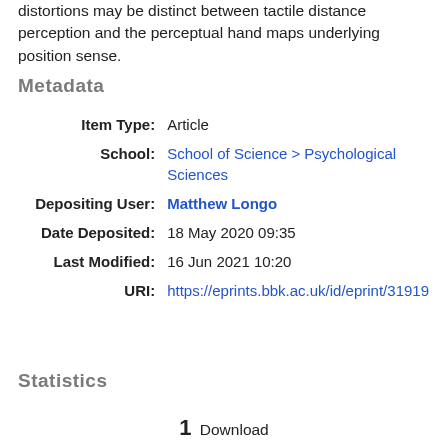distortions may be distinct between tactile distance perception and the perceptual hand maps underlying position sense.
Metadata
| Field | Value |
| --- | --- |
| Item Type: | Article |
| School: | School of Science > Psychological Sciences |
| Depositing User: | Matthew Longo |
| Date Deposited: | 18 May 2020 09:35 |
| Last Modified: | 16 Jun 2021 10:20 |
| URI: | https://eprints.bbk.ac.uk/id/eprint/31919 |
Statistics
1 Download